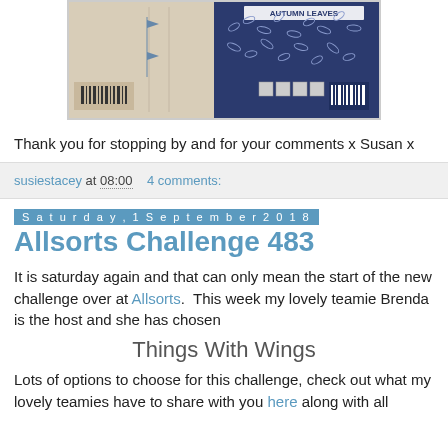[Figure (photo): Back of stamp packaging showing 'Autumn Leaves' stamp set with leaf patterns and product information on dark blue and kraft paper background]
Thank you for stopping by and for your comments x Susan x
susiestacey at 08:00   4 comments:
Saturday, 1 September 2018
Allsorts Challenge 483
It is saturday again and that can only mean the start of the new challenge over at Allsorts.  This week my lovely teamie Brenda is the host and she has chosen
Things With Wings
Lots of options to choose for this challenge, check out what my lovely teamies have to share with you here along with all